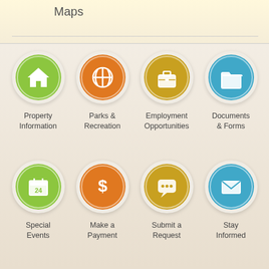Maps
[Figure (infographic): Grid of 8 icon buttons for a government/city website: Row 1: Property Information (green house icon), Parks & Recreation (orange basketball icon), Employment Opportunities (gold briefcase icon), Documents & Forms (blue folder icon). Row 2: Special Events (green calendar icon showing 24), Make a Payment (orange dollar sign icon), Submit a Request (gold speech bubble icon), Stay Informed (blue envelope icon).]